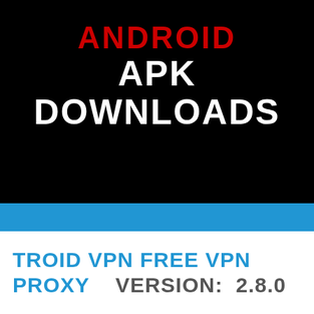ANDROID APK DOWNLOADS
TROID VPN FREE VPN PROXY   VERSION:  2.8.0